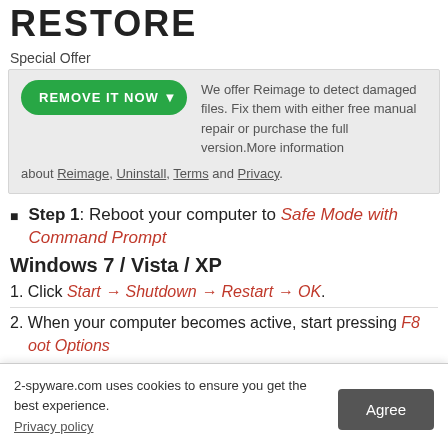RESTORE
Special Offer
We offer Reimage to detect damaged files. Fix them with either free manual repair or purchase the full version.More information about Reimage, Uninstall, Terms and Privacy.
Step 1: Reboot your computer to Safe Mode with Command Prompt
Windows 7 / Vista / XP
1. Click Start → Shutdown → Restart → OK.
2. When your computer becomes active, start pressing F8 key multiple times until you see Advanced Boot Options
2-spyware.com uses cookies to ensure you get the best experience.
Privacy policy
Agree